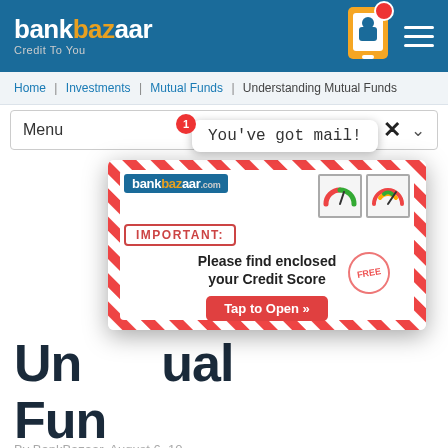bankbazaar Credit To You
Home | Investments | Mutual Funds | Understanding Mutual Funds
Menu
[Figure (screenshot): Mail notification popup saying 'You've got mail!' with a number 1 badge]
[Figure (infographic): BankBazaar envelope popup with IMPORTANT: Please find enclosed your Credit Score FREE - Tap to Open »]
Understanding Mutual Funds
By BankBazaar, August 6, 10
[Figure (illustration): Social share icons: Facebook, LinkedIn, Twitter, WhatsApp]
[Figure (illustration): Bottom illustration of a bull looking at a stock chart]